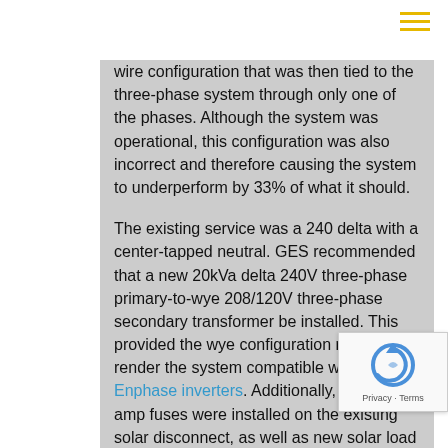wire configuration that was then tied to the three-phase system through only one of the phases. Although the system was operational, this configuration was also incorrect and therefore causing the system to underperform by 33% of what it should.

The existing service was a 240 delta with a center-tapped neutral. GES recommended that a new 20kVa delta 240V three-phase primary-to-wye 208/120V three-phase secondary transformer be installed. This provided the wye configuration needed to render the system compatible with the Enphase inverters. Additionally, three 70-amp fuses were installed on the existing solar disconnect, as well as new solar load center breakers in order to properly connect